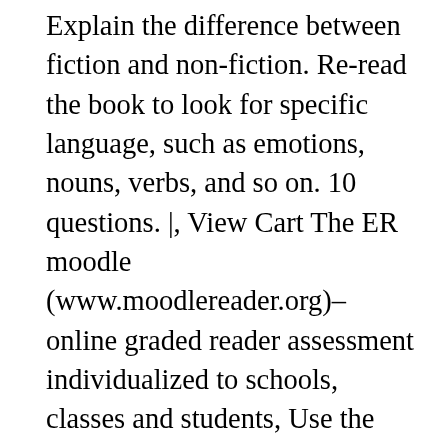Explain the difference between fiction and non-fiction. Re-read the book to look for specific language, such as emotions, nouns, verbs, and so on. 10 questions. |, View Cart The ER moodle (www.moodlereader.org)– online graded reader assessment individualized to schools, classes and students, Use the tests provided by publishers – often online or in Activity Books. Listeners think of 2 questions as they listen, Re-tell the story as if it were a character's diary, They can make a short poem about the story, or from one character to another (good for romances), They make a map of the places in the story and follow the route. Write a letter / email to one of the characters, Write to the publisher / author telling them